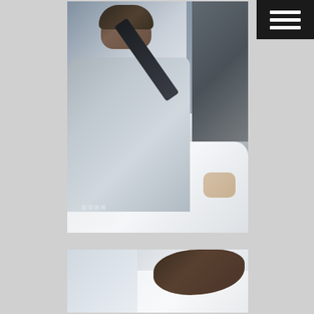[Figure (photo): A young man in a grey knit sweater lying on a bed, holding a dark rectangular object (possibly a phone or book) up to his face, photographed from above at an angle. The image has a watermark in Chinese characters at the bottom left.]
[Figure (photo): Partial view of a person lying down, showing the top/back of their head with dark hair, wearing white clothing. Only the upper portion of the figure is visible as the image is cropped.]